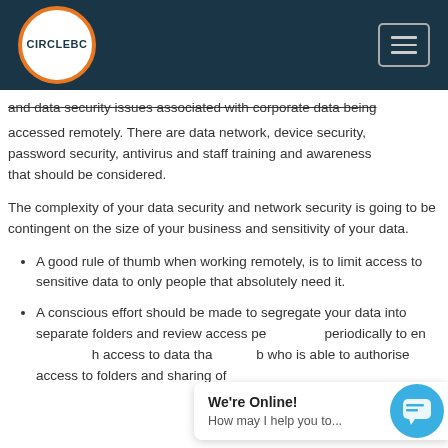CIRCLEBC
and data security issues associated with corporate data being accessed remotely. There are data network, device security, password security, antivirus and staff training and awareness that should be considered.
The complexity of your data security and network security is going to be contingent on the size of your business and sensitivity of your data.
A good rule of thumb when working remotely, is to limit access to sensitive data to only people that absolutely need it.
A conscious effort should be made to segregate your data into separate folders and review access permissions periodically to ensure that only the right have access to data that they need. The business should be who is able to authorise access to folders and sharing of